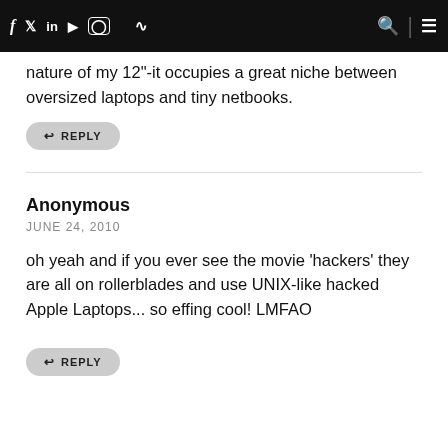f | Twitter | in | YouTube | Instagram | RSS | Search | Menu
nature of my 12"-it occupies a great niche between oversized laptops and tiny netbooks.
REPLY
Anonymous
JUNE 24, 2010

oh yeah and if you ever see the movie 'hackers' they are all on rollerblades and use UNIX-like hacked Apple Laptops... so effing cool! LMFAO
REPLY